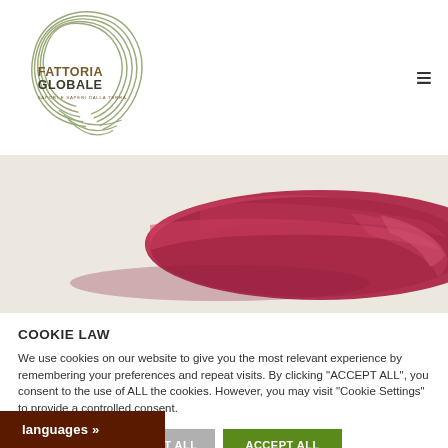[Figure (logo): Fattoria Globale logo — circular line art with text FATTORIA GLOBALE and tagline SAPORI E SAPERI DALLA TERRA]
[Figure (photo): Raw red meat (beef cut) on a light beige/cream surface]
COOKIE LAW
We use cookies on our website to give you the most relevant experience by remembering your preferences and repeat visits. By clicking "ACCEPT ALL", you consent to the use of ALL the cookies. However, you may visit "Cookie Settings" to provide a controlled consent.
Cookie Settings | REJECT ALL | ACCEPT ALL
languages »